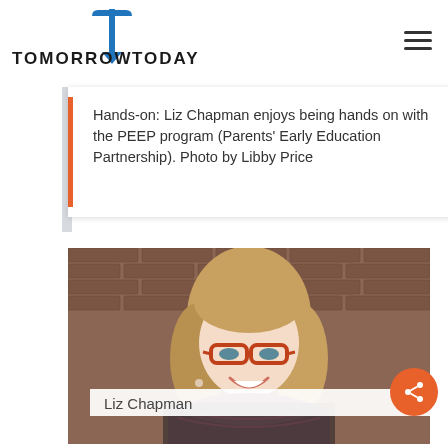TOMORROW TODAY
Hands-on: Liz Chapman enjoys being hands on with the PEEP program (Parents' Early Education Partnership). Photo by Libby Price
[Figure (photo): Portrait photo of Liz Chapman, a woman with red-framed glasses, shoulder-length blonde-brown hair, wearing a patterned scarf and dark top, smiling in front of a brick wall background.]
Liz Chapman